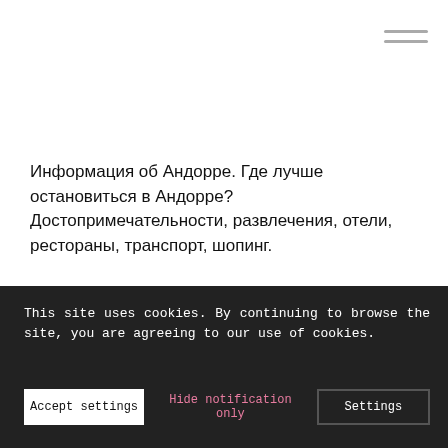[Figure (other): Hamburger menu icon (three horizontal lines) in top-right corner of header]
Информация об Андорре. Где лучше остановиться в Андорре? Достопримечательности, развлечения, отели, рестораны, транспорт, шопинг.
Posts
This site uses cookies. By continuing to browse the site, you are agreeing to our use of cookies.
Accept settings | Hide notification only | Settings